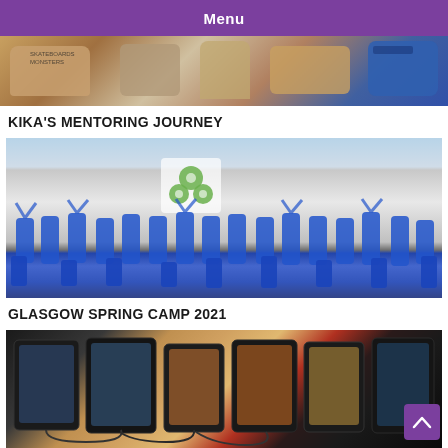Menu
[Figure (photo): Close-up photo showing two fists/hands in a thumbs-up gesture; one person wearing a shirt with text, another wearing a blue wristband]
KIKA'S MENTORING JOURNEY
[Figure (photo): Group photo of approximately 20 people wearing blue shirts and masks, posing energetically in front of a building with a banner displaying a logo with three green circles]
GLASGOW SPRING CAMP 2021
[Figure (photo): Photo of multiple tablets/devices lined up on a table, some showing video call screens]